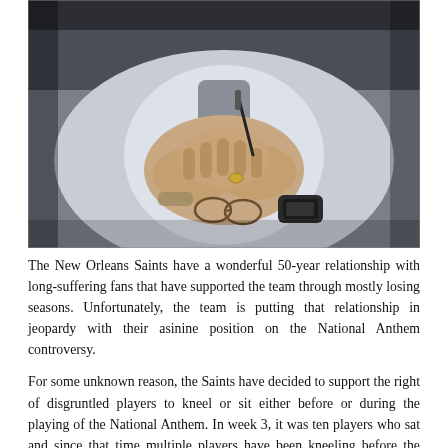[Figure (photo): Close-up photo of a man with clasped hands resting near his face, wearing a light blue shirt and a dark wristwatch, holding a pen, with head bowed in a thoughtful or concerned pose.]
The New Orleans Saints have a wonderful 50-year relationship with long-suffering fans that have supported the team through mostly losing seasons. Unfortunately, the team is putting that relationship in jeopardy with their asinine position on the National Anthem controversy.
For some unknown reason, the Saints have decided to support the right of disgruntled players to kneel or sit either before or during the playing of the National Anthem. In week 3, it was ten players who sat and since that time multiple players have been kneeling before the National Anthem is played and the remainder from the Star Spangled...